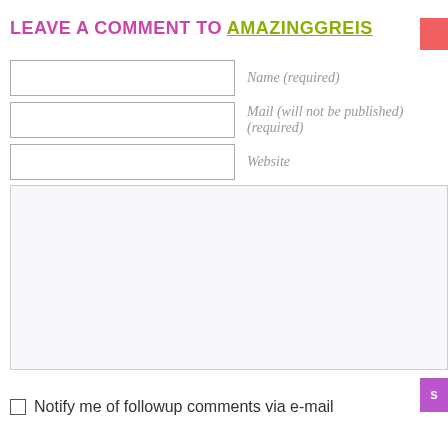LEAVE A COMMENT TO AMAZINGGREIS
Name (required)
Mail (will not be published) (required)
Website
Notify me of followup comments via e-mail